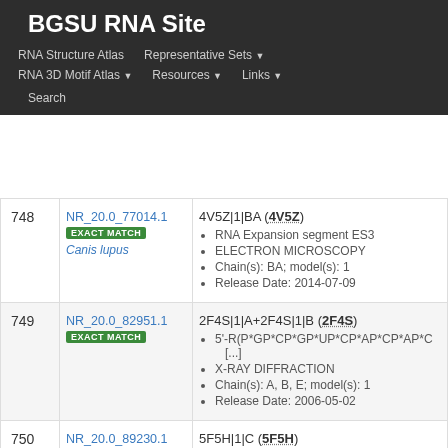BGSU RNA Site
RNA Structure Atlas | Representative Sets | RNA 3D Motif Atlas | Resources | Links | Search
| # | ID | Details |
| --- | --- | --- |
| 748 | NR_20.0_77014.1
EXACT MATCH
Canis lupus | 4V5Z|1|BA (4V5Z)
• RNA Expansion segment ES3
• ELECTRON MICROSCOPY
• Chain(s): BA; model(s): 1
• Release Date: 2014-07-09 |
| 749 | NR_20.0_82951.1
EXACT MATCH | 2F4S|1|A+2F4S|1|B (2F4S)
• 5'-R(P*GP*CP*GP*UP*CP*AP*CP*AP*C [...]
• X-RAY DIFFRACTION
• Chain(s): A, B, E; model(s): 1
• Release Date: 2006-05-02 |
| 750 | NR_20.0_89230.1 | 5F5H|1|C (5F5H) |